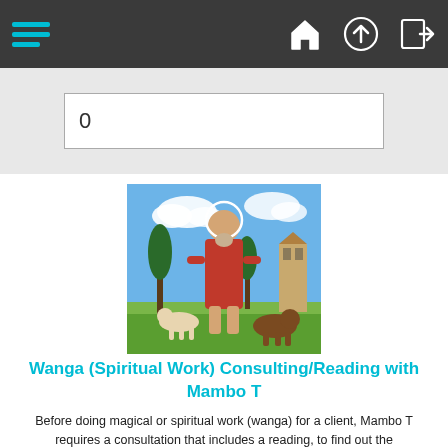Navigation bar with hamburger menu and icons: home, up, login
0
[Figure (illustration): Religious illustration of a robed elderly man with a halo, standing with two dogs in a landscape with trees and a tower. Likely Saint Lazarus.]
Wanga (Spiritual Work) Consulting/Reading with Mambo T
Before doing magical or spiritual work (wanga) for a client, Mambo T requires a consultation that includes a reading, to find out the parameters of